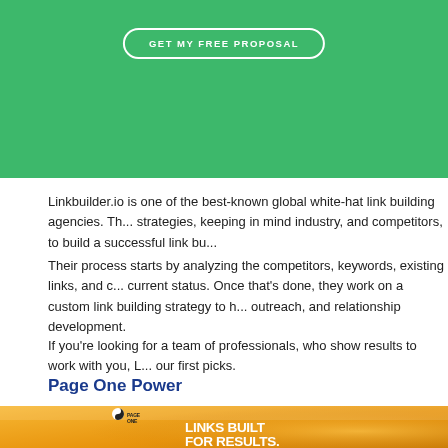[Figure (screenshot): Green banner with 'GET MY FREE PROPOSAL' button in white rounded border]
Linkbuilder.io is one of the best-known global white-hat link building agencies. They build custom strategies, keeping in mind industry, and competitors, to build a successful link bu...
Their process starts by analyzing the competitors, keywords, existing links, and current status. Once that's done, they work on a custom link building strategy to help with outreach, and relationship development.
If you're looking for a team of professionals, who show results to work with you, L... our first picks.
Page One Power
[Figure (screenshot): Page One Power website screenshot with orange/yellow background showing 'LINKS BUILT FOR RESULTS. + CONTENT BUILT FOR SEARCH...' headline in bold white text, logo top left, navigation top right with Link Building and Content Marketing links]